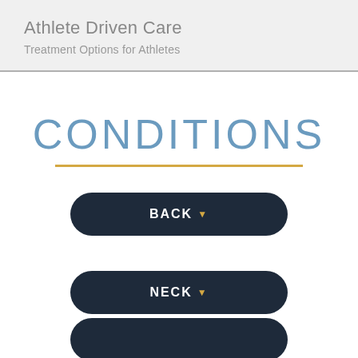Athlete Driven Care
Treatment Options for Athletes
CONDITIONS
BACK ▼
NECK ▼